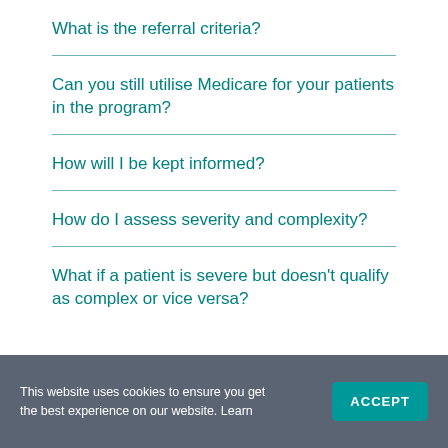What is the referral criteria?
Can you still utilise Medicare for your patients in the program?
How will I be kept informed?
How do I assess severity and complexity?
What if a patient is severe but doesn't qualify as complex or vice versa?
This website uses cookies to ensure you get the best experience on our website. Learn